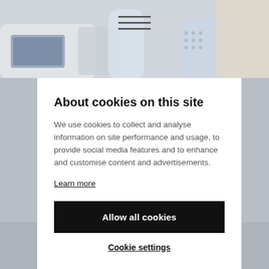[Figure (photo): Aircraft interior cabin background image showing overhead bins, water bottle, and cabin features in light grey/white tones]
About cookies on this site
We use cookies to collect and analyse information on site performance and usage, to provide social media features and to enhance and customise content and advertisements.
Learn more
Allow all cookies
Cookie settings